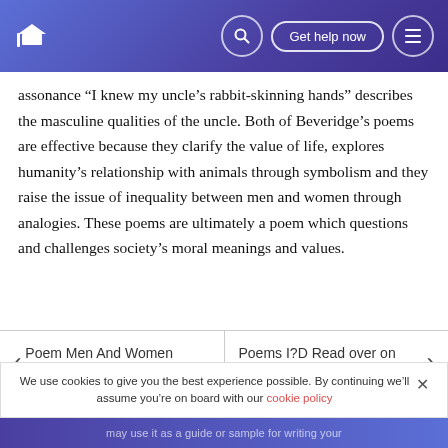Get help now
assonance “I knew my uncle’s rabbit-skinning hands” describes the masculine qualities of the uncle. Both of Beveridge’s poems are effective because they clarify the value of life, explores humanity’s relationship with animals through symbolism and they raise the issue of inequality between men and women through analogies. These poems are ultimately a poem which questions and challenges society’s moral meanings and values.
‹ Poem Men And Women Research Paper
Poems I?D Read over on Any Rainy Day ›
We use cookies to give you the best experience possible. By continuing we’ll assume you’re on board with our cookie policy
may use it as a guide or sample for writing your